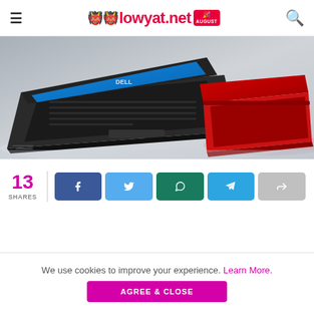lowyat.net
[Figure (photo): Two Dell laptops on a reflective surface — one black (open, facing left) and one red (partially open, facing right), with a blue screen visible on the black laptop.]
13 SHARES
[Figure (infographic): Social share buttons row: Facebook (dark blue), Twitter (light blue), WhatsApp (dark teal/green), Telegram (blue), and a grey share/forward button.]
We use cookies to improve your experience. Learn More. AGREE & CLOSE